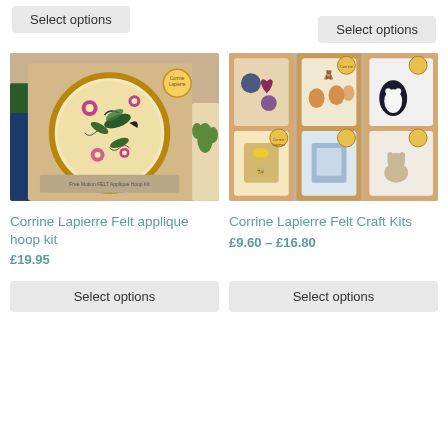Select options
Select options
[Figure (photo): Photo of Corrine Lapierre Felt applique hoop kit product packaging showing embroidery hoop with floral and hummingbird design]
[Figure (photo): Photo of multiple Corrine Lapierre Felt Craft Kits boxes stacked, showing various felt craft designs on packaging]
Corrine Lapierre Felt applique hoop kit
Corrine Lapierre Felt Craft Kits
£19.95
£9.60 – £16.80
Select options
Select options